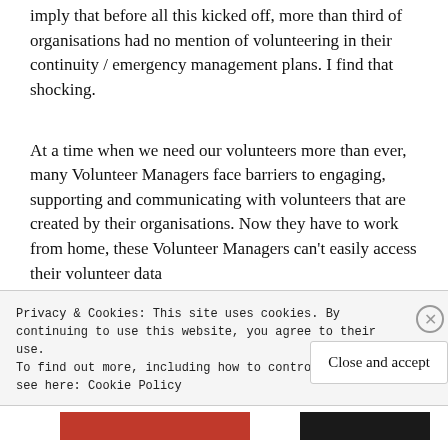imply that before all this kicked off, more than third of organisations had no mention of volunteering in their continuity / emergency management plans. I find that shocking.
At a time when we need our volunteers more than ever, many Volunteer Managers face barriers to engaging, supporting and communicating with volunteers that are created by their organisations. Now they have to work from home, these Volunteer Managers can't easily access their volunteer data
Privacy & Cookies: This site uses cookies. By continuing to use this website, you agree to their use. To find out more, including how to control cookies, see here: Cookie Policy
Close and accept